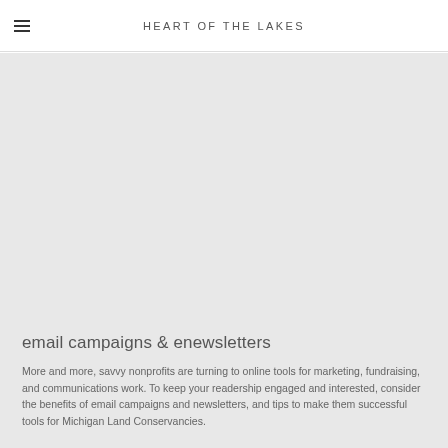HEART OF THE LAKES
email campaigns & enewsletters
More and more, savvy nonprofits are turning to online tools for marketing, fundraising, and communications work. To keep your readership engaged and interested, consider the benefits of email campaigns and newsletters, and tips to make them successful tools for Michigan Land Conservancies.